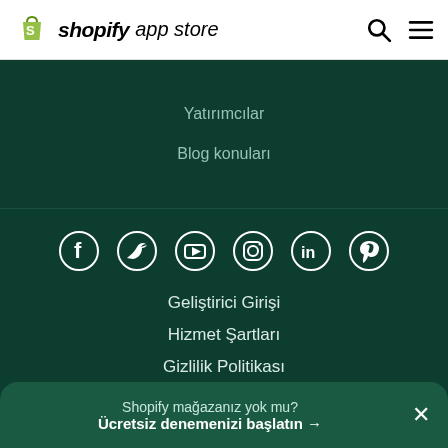Shopify app store
Yatırımcılar
Blog konuları
[Figure (infographic): Social media icons row: Facebook, Twitter, YouTube, Instagram, LinkedIn, Pinterest — white icons on dark green background]
Geliştirici Girişi
Hizmet Şartları
Gizlilik Politikası
Shopify mağazanız yok mu? Ücretsiz denemenizi başlatın →